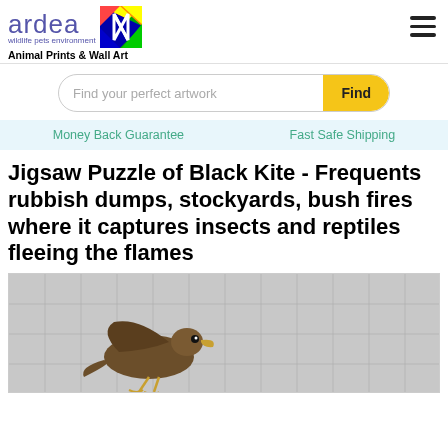[Figure (logo): Ardea wildlife pets environment logo with colorful square graphic]
Animal Prints & Wall Art
[Figure (other): Search bar with text 'Find your perfect artwork' and yellow 'Find' button]
Money Back Guarantee    Fast Safe Shipping
Jigsaw Puzzle of Black Kite - Frequents rubbish dumps, stockyards, bush fires where it captures insects and reptiles fleeing the flames
[Figure (photo): Jigsaw puzzle image showing a Black Kite bird on a puzzle piece background]